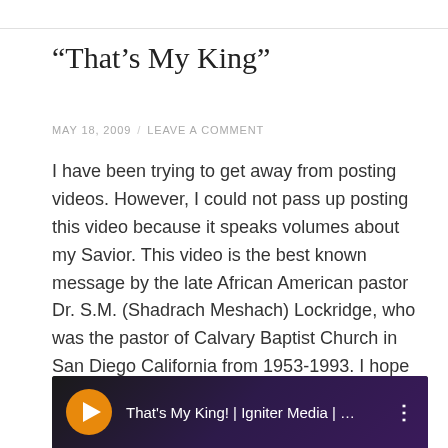“That’s My King”
MAY 18, 2009 / LEAVE A COMMENT
I have been trying to get away from posting videos. However, I could not pass up posting this video because it speaks volumes about my Savior. This video is the best known message by the late African American pastor Dr. S.M. (Shadrach Meshach) Lockridge, who was the pastor of Calvary Baptist Church in San Diego California from 1953-1993. I hope you enjoy this as much as I do.
[Figure (screenshot): YouTube video thumbnail showing 'That's My King! | Igniter Media | ...' with orange flame logo icon on dark purple/black background]